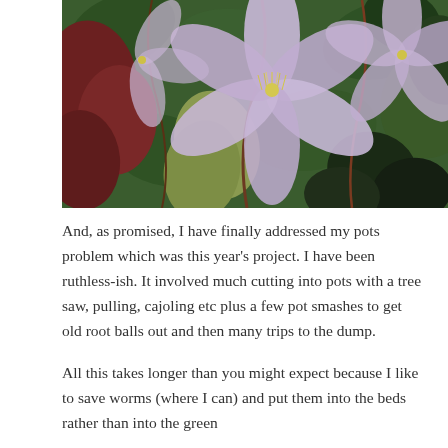[Figure (photo): Close-up photograph of pale purple/lavender clematis flowers with feathery stamens, surrounded by green and dark red/burgundy leaves and vines.]
And, as promised, I have finally addressed my pots problem which was this year's project. I have been ruthless-ish. It involved much cutting into pots with a tree saw, pulling, cajoling etc plus a few pot smashes to get old root balls out and then many trips to the dump.
All this takes longer than you might expect because I like to save worms (where I can) and put them into the beds rather than into the green